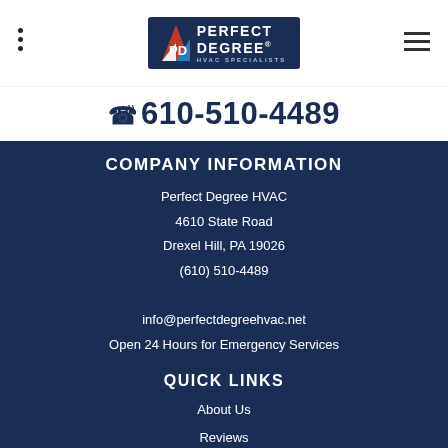[Figure (logo): Perfect Degree HVAC Specialists logo on dark navy background with triangular icon]
☎ 610-510-4489
COMPANY INFORMATION
Perfect Degree HVAC
4610 State Road
Drexel Hill, PA 19026
(610) 510-4489
info@perfectdegreehvac.net
Open 24 Hours for Emergency Services
QUICK LINKS
About Us
Reviews
SCHEDULE A FREE CONSULTATION